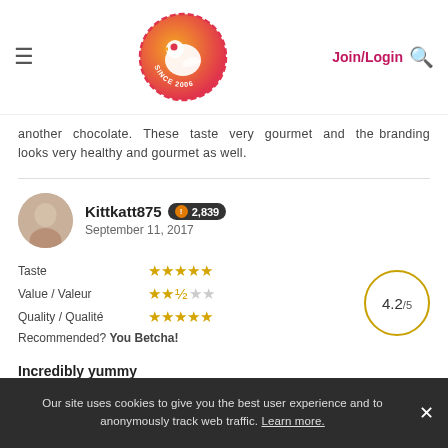ChickAdvisor — Join/Login [search]
another chocolate. These taste very gourmet and the branding looks very healthy and gourmet as well.
Kittkatt875 | 2,839 | September 11, 2017
| Category | Rating |
| --- | --- |
| Taste | 5 stars |
| Value / Valeur | 2.5 stars |
| Quality / Qualité | 5 stars |
| Recommended? | You Betcha! |
4.2/5
Incredibly yummy
Our site uses cookies to give you the best user experience and to anonymously track web traffic. Learn more.